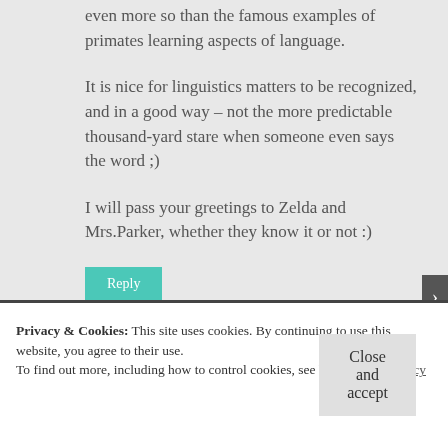even more so than the famous examples of primates learning aspects of language.
It is nice for linguistics matters to be recognized, and in a good way – not the more predictable thousand-yard stare when someone even says the word ;)
I will pass your greetings to Zelda and Mrs.Parker, whether they know it or not :)
Reply
Privacy & Cookies: This site uses cookies. By continuing to use this website, you agree to their use.
To find out more, including how to control cookies, see here: Cookie Policy
Close and accept